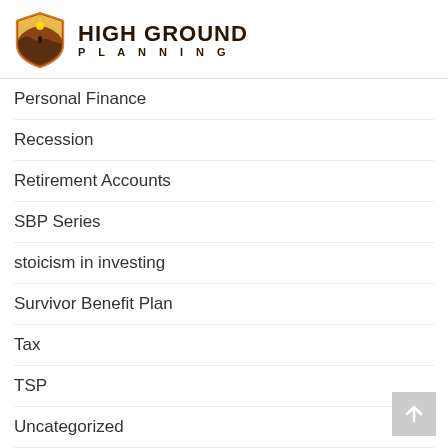[Figure (logo): High Ground Planning logo with shield icon and text]
Personal Finance
Recession
Retirement Accounts
SBP Series
stoicism in investing
Survivor Benefit Plan
Tax
TSP
Uncategorized
Wealth